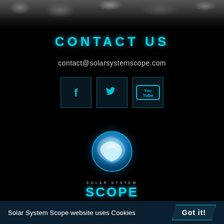[Figure (photo): Dark rocky/mountainous texture banner at the top of the page]
CONTACT US
contact@solarsystemscope.com
[Figure (other): Three social media icon boxes: Facebook (f), Twitter (bird), YouTube (You Tube)]
[Figure (logo): Solar System Scope logo: glowing blue swirling sphere with text 'SOLAR SYSTEM SCOPE' underneath]
Solar System Scope website uses Cookies
Got it!